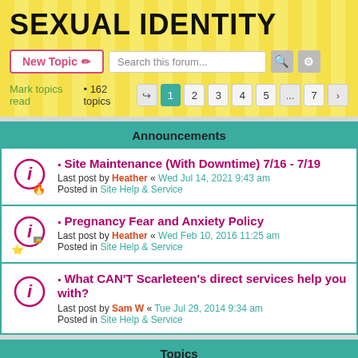SEXUAL IDENTITY
New Topic | Search this forum... | Mark topics read • 162 topics | 1 2 3 4 5 ... 7 >
Announcements
Site Maintenance (With Downtime) 7/16 - 7/19
Last post by Heather « Wed Jul 14, 2021 9:43 am
Posted in Site Help & Service
Pregnancy Fear and Anxiety Policy
Last post by Heather « Wed Feb 10, 2016 11:25 am
Posted in Site Help & Service
What CAN'T Scarleteen's direct services help you with?
Last post by Sam W « Tue Jul 29, 2014 9:34 am
Posted in Site Help & Service
Topics